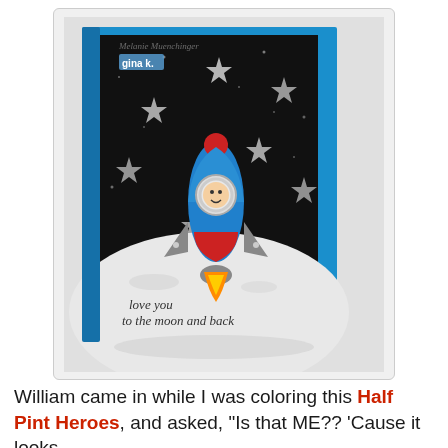[Figure (photo): A handmade greeting card featuring a rocket ship with an astronaut launching from a white moon surface against a black starry sky background, framed in bright blue cardstock. The card reads 'love you to the moon and back' in script lettering. Watermarks read 'Melanie Muenchinger' and 'gina k.' in the upper portion.]
William came in while I was coloring this Half Pint Heroes, and asked, "Is that ME?? 'Cause it looks